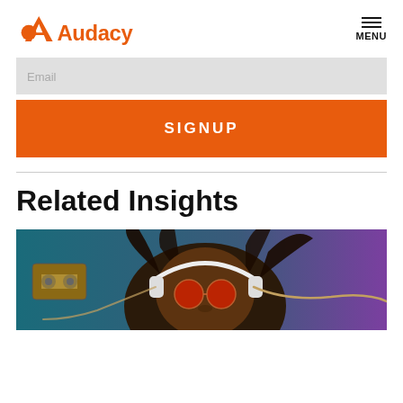Audacy
Email
SIGNUP
Related Insights
[Figure (photo): Person with dreadlocks lying down wearing red round sunglasses and white headphones, with a cassette tape visible, teal and purple background]